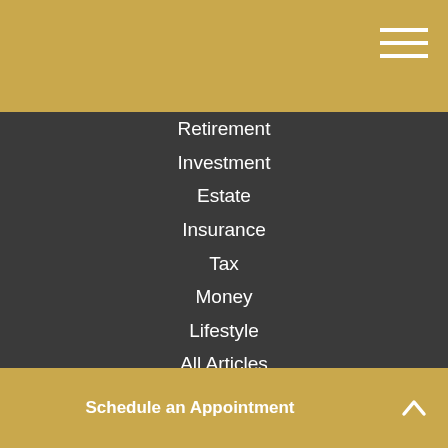[Figure (other): Gold/amber colored header bar with hamburger menu icon (three horizontal white lines) in the top right corner]
Retirement
Investment
Estate
Insurance
Tax
Money
Lifestyle
All Articles
All Videos
All Calculators
All Presentations
Check the background of your financial professional on FINRA's BrokerCheck.
The content is developed from sources believed to be providing accurate information. The information in this material is not intended as tax or legal advice. Please consult legal or tax professionals for specific information regarding your individual situation. Some of this material was developed and produced by FMG Suite to provide information on a topic that may be of interest. FMG Suite is not affiliated with the named representative, broker - dealer, state - or SEC - registered investment advisory firm. The opinions expressed and material provided are for general information, and should not be considered a solicitation for the purchase or sale of any security.
Schedule an Appointment